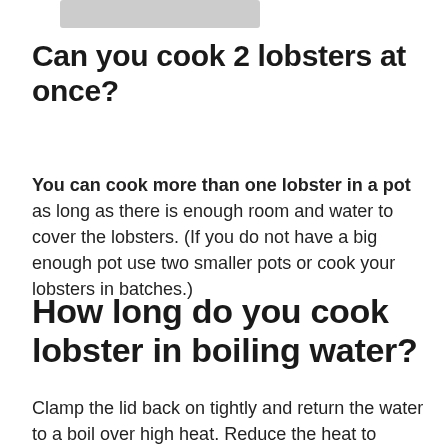[Figure (other): Gray rectangular banner/image at top of page]
Can you cook 2 lobsters at once?
You can cook more than one lobster in a pot as long as there is enough room and water to cover the lobsters. (If you do not have a big enough pot use two smaller pots or cook your lobsters in batches.)
How long do you cook lobster in boiling water?
Clamp the lid back on tightly and return the water to a boil over high heat. Reduce the heat to medium and cook the lobsters for 12